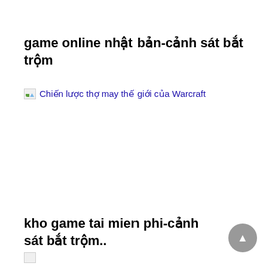game online nhật bản-cảnh sát bắt trộm
[Figure (other): Broken image placeholder with link text: Chiến lược thợ may thế giới của Warcraft]
kho game tai mien phi-cảnh sát bắt trộm..
[Figure (other): Broken image placeholder at bottom left]